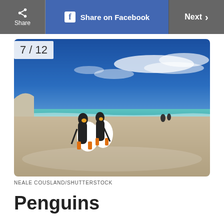Share | Share on Facebook | Next >
[Figure (photo): Two king penguins standing side-by-side on a sandy beach with turquoise ocean waves and blue sky with white clouds. Additional penguins visible in the background at the water's edge.]
NEALE COUSLAND/SHUTTERSTOCK
Penguins